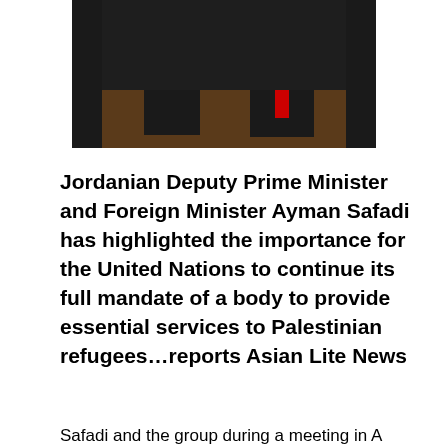[Figure (photo): Two men in suits at a podium or conference table, one speaking into a microphone, the other gesturing with hands. Dark background. Official/diplomatic setting.]
Jordanian Deputy Prime Minister and Foreign Minister Ayman Safadi has highlighted the importance for the United Nations to continue its full mandate of a body to provide essential services to Palestinian refugees…reports Asian Lite News
Safadi and the group during a meeting in A...